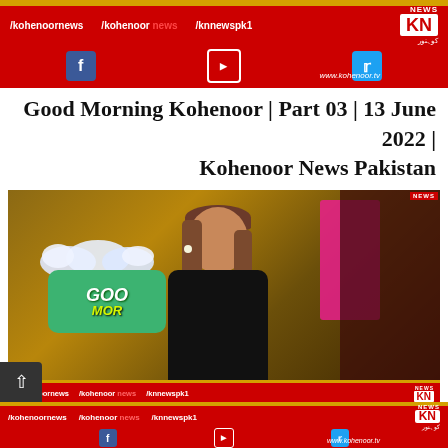[Figure (screenshot): Kohenoor News top banner with social media handles /kohenoornews /kohenoor news /knnewspk1, Facebook, YouTube, Twitter icons, KN logo, and www.kohenoor.tv website]
Good Morning Kohenoor | Part 03 | 13 June 2022 | Kohenoor News Pakistan
[Figure (screenshot): Video thumbnail showing a female news presenter in black outfit on Good Morning Kohenoor TV set with green speech bubble logo, golden studio background, pink panel, and Kohenoor News banner overlay at the bottom]
[Figure (screenshot): Kohenoor News bottom banner with social media handles /kohenoornews /kohenoor news /knnewspk1, Facebook, YouTube, Twitter icons, KN logo, and www.kohenoor.tv]